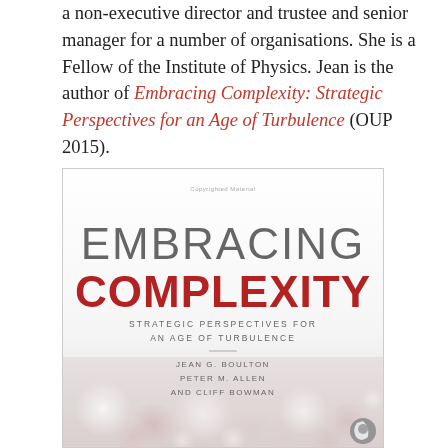a non-executive director and trustee and senior manager for a number of organisations. She is a Fellow of the Institute of Physics. Jean is the author of Embracing Complexity: Strategic Perspectives for an Age of Turbulence (OUP 2015).
[Figure (illustration): Book cover of 'Embracing Complexity: Strategic Perspectives for an Age of Turbulence' by Jean G. Boulton, Peter M. Allen, and Cliff Bowman, published OUP 2015. Cover shows large grey text 'EMBRACING' above bold red text 'COMPLEXITY', with subtitle in small caps and authors listed below a horizontal rule, over a blurred bokeh background.]